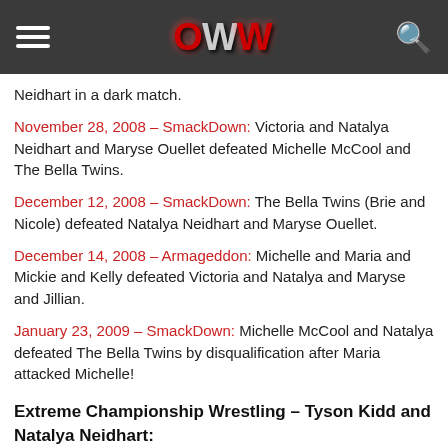OWW
Neidhart in a dark match.
November 28, 2008 – SmackDown: Victoria and Natalya Neidhart and Maryse Ouellet defeated Michelle McCool and The Bella Twins.
December 12, 2008 – SmackDown: The Bella Twins (Brie and Nicole) defeated Natalya Neidhart and Maryse Ouellet.
December 14, 2008 – Armageddon: Michelle and Maria and Mickie and Kelly defeated Victoria and Natalya and Maryse and Jillian.
January 23, 2009 – SmackDown: Michelle McCool and Natalya defeated The Bella Twins by disqualification after Maria attacked Michelle!
Extreme Championship Wrestling – Tyson Kidd and Natalya Neidhart: